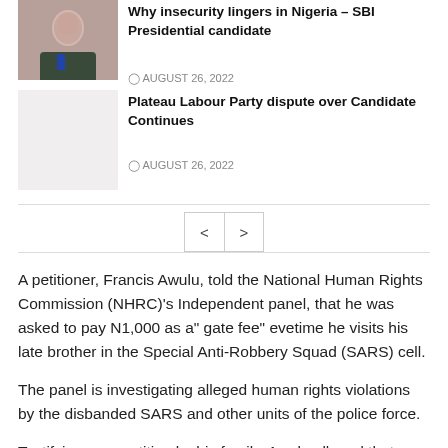[Figure (photo): Photo of a man in a suit thinking, chin resting on hand]
Why insecurity lingers in Nigeria – SBI Presidential candidate
AUGUST 26, 2022
[Figure (photo): Blank/empty image placeholder]
Plateau Labour Party dispute over Candidate Continues
AUGUST 26, 2022
A petitioner, Francis Awulu, told the National Human Rights Commission (NHRC)'s Independent panel, that he was asked to pay N1,000 as a" gate fee" evetime he visits his late brother in the Special Anti-Robbery Squad (SARS) cell.
The panel is investigating alleged human rights violations by the disbanded SARS and other units of the police force.
Testifying on a petition by his family, Awulu alleged that